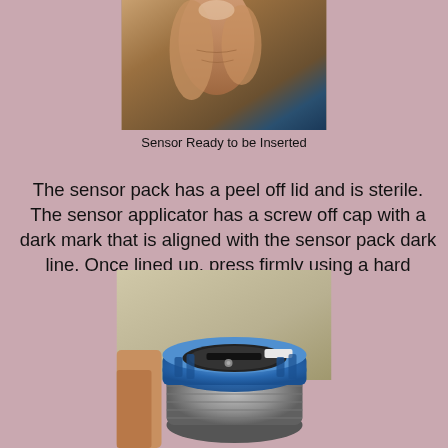[Figure (photo): Close-up photo of a hand/fingers holding a sensor ready to be inserted, against a wooden surface background]
Sensor Ready to be Inserted
The sensor pack has a peel off lid and is sterile. The sensor applicator has a screw off cap with a dark mark that is aligned with the sensor pack dark line. Once lined up, press firmly using a hard surface, until it stops
[Figure (photo): Photo of a cylindrical sensor applicator device with a blue outer cap and gray inner threaded body, being held by a hand, showing the opening with a slot and white stripe visible inside]